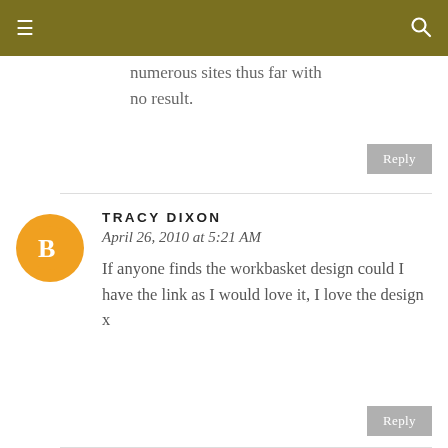☰  🔍
numerous sites thus far with no result.
[Figure (other): Reply button (grey)]
TRACY DIXON
April 26, 2010 at 5:21 AM
If anyone finds the workbasket design could I have the link as I would love it, I love the design x
[Figure (other): Reply button (grey)]